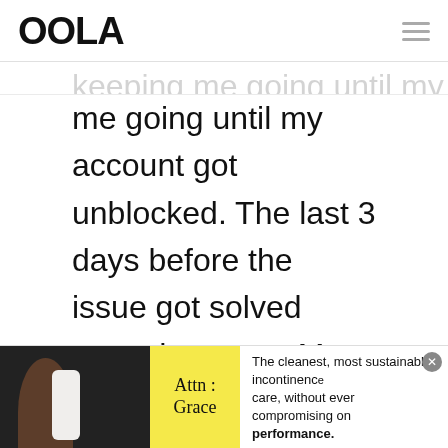OOLA
me going until my account got unblocked. The last 3 days before the issue got solved were the worst. My body was extremely weak and I was getting delirious from the lack of food. I really don't know why I didn't swallow my pride and ask my
[Figure (infographic): Advertisement banner for Attn: Grace incontinence care product. Shows a dark background with an arm and product on left, yellow label section with 'Attn: Grace' text, and ad copy reading 'The cleanest, most sustainable incontinence care, without ever compromising on performance.']